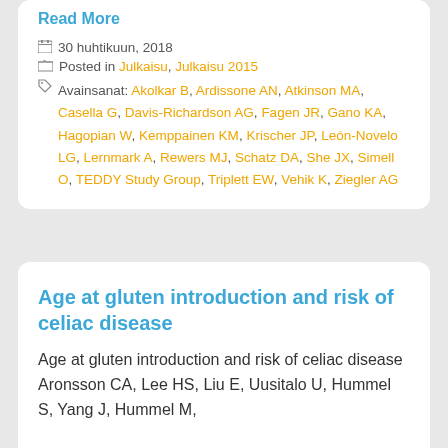Read More
30 huhtikuun, 2018
Posted in Julkaisu, Julkaisu 2015
Avainsanat: Akolkar B, Ardissone AN, Atkinson MA, Casella G, Davis-Richardson AG, Fagen JR, Gano KA, Hagopian W, Kemppainen KM, Krischer JP, León-Novelo LG, Lernmark A, Rewers MJ, Schatz DA, She JX, Simell O, TEDDY Study Group, Triplett EW, Vehik K, Ziegler AG
Age at gluten introduction and risk of celiac disease
Age at gluten introduction and risk of celiac disease Aronsson CA, Lee HS, Liu E, Uusitalo U, Hummel S, Yang J, Hummel M, ...